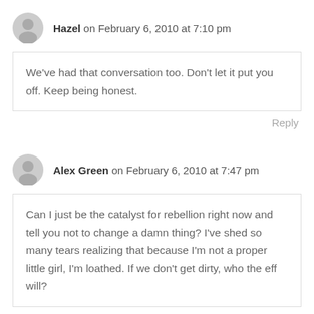Hazel on February 6, 2010 at 7:10 pm
We've had that conversation too. Don't let it put you off. Keep being honest.
Reply
Alex Green on February 6, 2010 at 7:47 pm
Can I just be the catalyst for rebellion right now and tell you not to change a damn thing? I've shed so many tears realizing that because I'm not a proper little girl, I'm loathed. If we don't get dirty, who the eff will?